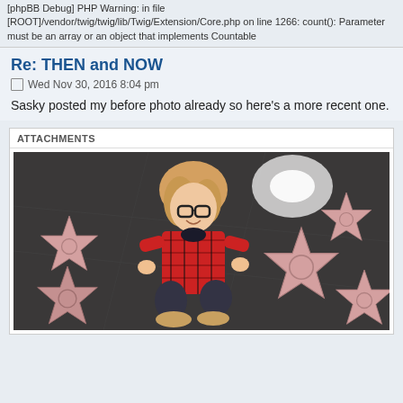[phpBB Debug] PHP Warning: in file [ROOT]/vendor/twig/twig/lib/Twig/Extension/Core.php on line 1266: count(): Parameter must be an array or an object that implements Countable
Re: THEN and NOW
Wed Nov 30, 2016 8:04 pm
Sasky posted my before photo already so here's a more recent one.
ATTACHMENTS
[Figure (photo): A young woman with blonde hair and glasses wearing a plaid shirt, crouching on the Hollywood Walk of Fame surrounded by pink stars embedded in the dark sidewalk. One star reads MARY in the lower right.]